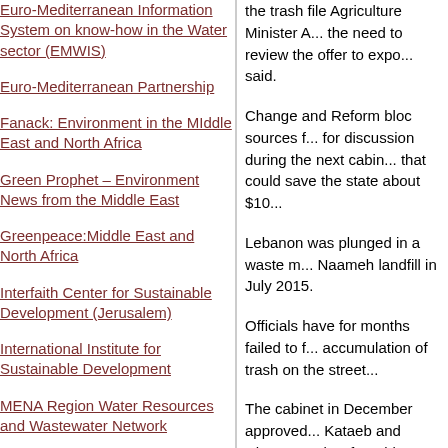Euro-Mediterranean Information System on know-how in the Water sector (EMWIS)
Euro-Mediterranean Partnership
Fanack: Environment in the Middle East and North Africa
Green Prophet – Environment News from the Middle East
Greenpeace:Middle East and North Africa
Interfaith Center for Sustainable Development (Jerusalem)
International Institute for Sustainable Development
MENA Region Water Resources and Wastewater Network
No Camels – Israeli Environmental Innovation News
Strategic Foresight Middle East Project
This Week in Palestine: Environmental Challenges
the trash file Agriculture Minister A... the need to review the offer to expo... said.
Change and Reform bloc sources f... for discussion during the next cabin... that could save the state about $10...
Lebanon was plunged in a waste m... Naameh landfill in July 2015.
Officials have for months failed to f... accumulation of trash on the street...
The cabinet in December approved... Kataeb and Change and Reform bl...
Two firms that agreed to export Le... Howa BV, were brought down to or...
D.A.
G.K.
http://www.naharnet.com/stories/en... cost-too-high